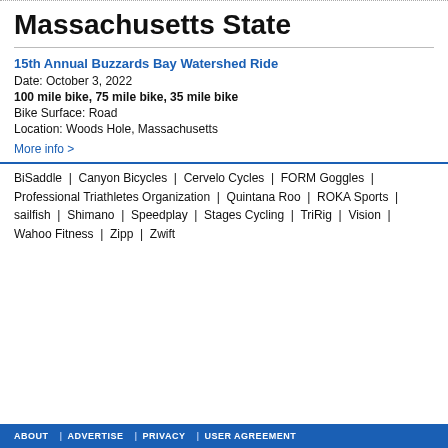Massachusetts State
15th Annual Buzzards Bay Watershed Ride
Date: October 3, 2022
100 mile bike, 75 mile bike, 35 mile bike
Bike Surface: Road
Location: Woods Hole, Massachusetts
More info >
BiSaddle | Canyon Bicycles | Cervelo Cycles | FORM Goggles | Professional Triathletes Organization | Quintana Roo | ROKA Sports | sailfish | Shimano | Speedplay | Stages Cycling | TriRig | Vision | Wahoo Fitness | Zipp | Zwift
ABOUT | ADVERTISE | PRIVACY | USER AGREEMENT